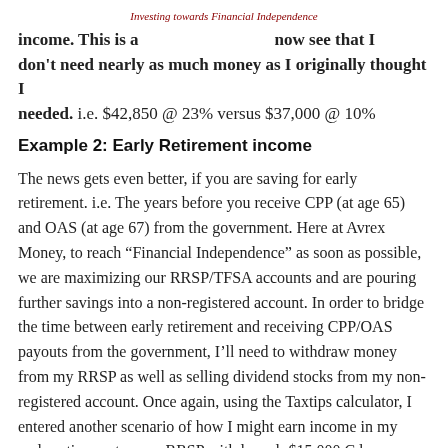Investing towards Financial Independence
income. This is a [partial] now see that I don't need nearly as much money as I originally thought I needed. i.e. $42,850 @ 23% versus $37,000 @ 10%
Example 2: Early Retirement income
The news gets even better, if you are saving for early retirement. i.e. The years before you receive CPP (at age 65) and OAS (at age 67) from the government. Here at Avrex Money, to reach “Financial Independence” as soon as possible, we are maximizing our RRSP/TFSA accounts and are pouring further savings into a non-registered account. In order to bridge the time between early retirement and receiving CPP/OAS payouts from the government, I’ll need to withdraw money from my RRSP as well as selling dividend stocks from my non-registered account. Once again, using the Taxtips calculator, I entered another scenario of how I might earn income in my early retirement years. RRSP withdrawal: $15,000 Cdn dividends: $10,000